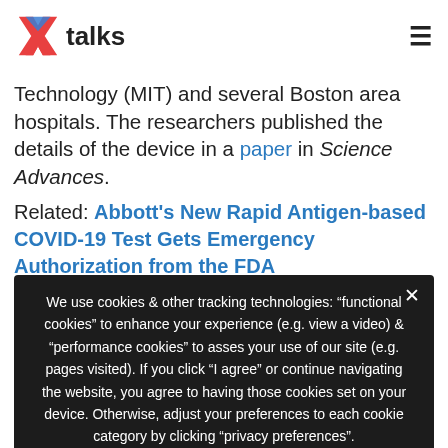Xtalks
Technology (MIT) and several Boston area hospitals. The researchers published the details of the device in a paper in Science Advances.
Related: Abbott's New Rapid Antigen-based COVID-19 Test Gets Emergency Authorization from FDA
We use cookies & other tracking technologies: "functional cookies" to enhance your experience (e.g. view a video) & "performance cookies" to asses your use of our site (e.g. pages visited). If you click "I agree" or continue navigating the website, you agree to having those cookies set on your device. Otherwise, adjust your preferences to each cookie category by clicking "privacy preferences".
Privacy Preferences
I Agree
The researchers were able to successfully distinguish between three different variants of SARS-CoV-2 with the CRISPR COVID-19 test in experiments, and the device can be easily reconfigured to detect other variants like Delta...